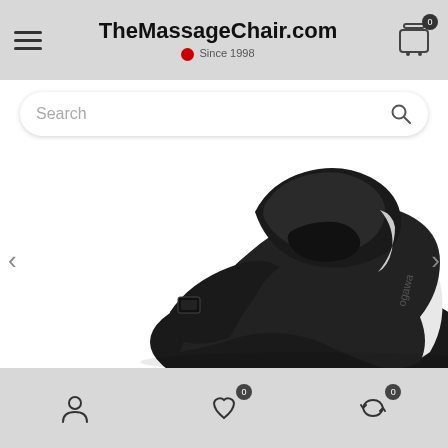TheMassageChair.com Since 1998
Search
[Figure (photo): Close-up photo of a black massage chair (Ogawa brand) showing the headrest and upper back area with white accent side panels, on a white background.]
Account | Wishlist 0 | Compare 0